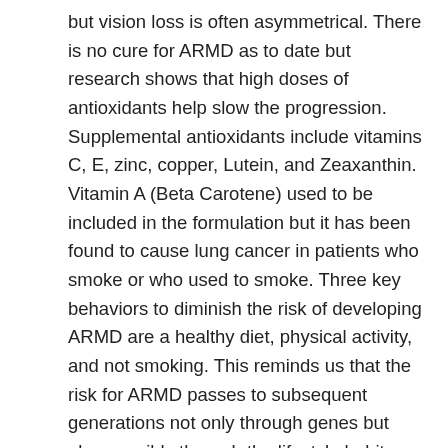but vision loss is often asymmetrical. There is no cure for ARMD as to date but research shows that high doses of antioxidants help slow the progression. Supplemental antioxidants include vitamins C, E, zinc, copper, Lutein, and Zeaxanthin. Vitamin A (Beta Carotene) used to be included in the formulation but it has been found to cause lung cancer in patients who smoke or who used to smoke. Three key behaviors to diminish the risk of developing ARMD are a healthy diet, physical activity, and not smoking. This reminds us that the risk for ARMD passes to subsequent generations not only through genes but also possibly through the lifestyle habits we model and encourage. Lastly, we always see patients who express a desire to do something to decrease their risk of developing ARMD and we tell them that there are no studies to support the use of supplements to prevent ARMD formation but it is certainly an acceptable approach until we have even further research to either confirm or refute their use. There are two main companies on